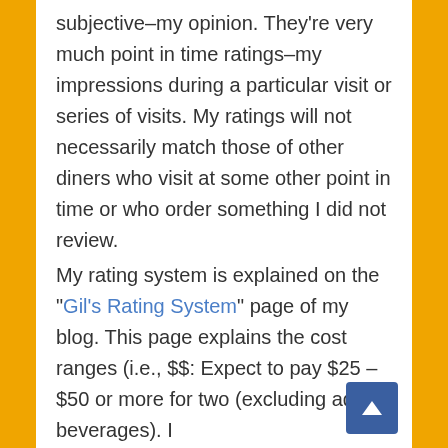subjective–my opinion. They're very much point in time ratings–my impressions during a particular visit or series of visits. My ratings will not necessarily match those of other diners who visit at some other point in time or who order something I did not review.
My rating system is explained on the "Gil's Rating System" page of my blog. This page explains the cost ranges (i.e., $$: Expect to pay $25 – $50 or more for two (excluding adult beverages). I